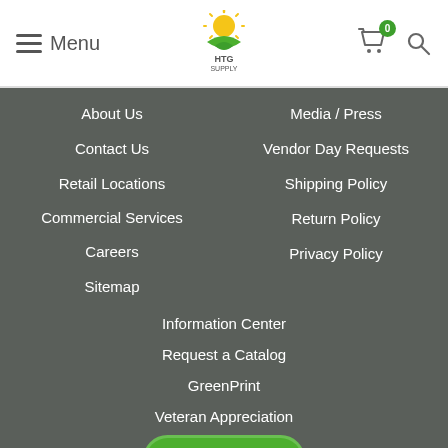Menu | HTG Supply logo | Cart (0) | Search
About Us
Media / Press
Contact Us
Vendor Day Requests
Retail Locations
Shipping Policy
Commercial Services
Return Policy
Careers
Privacy Policy
Sitemap
Information Center
Request a Catalog
GreenPrint
Veteran Appreciation
+ FILTERS